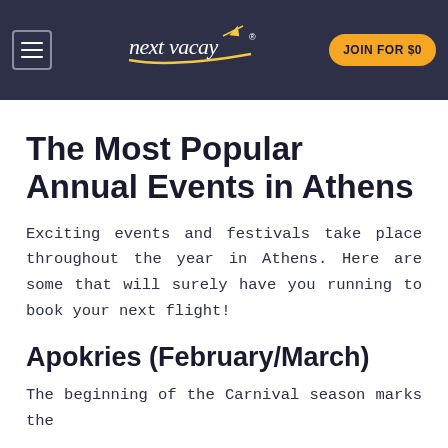nextVacay — JOIN FOR $0
The Most Popular Annual Events in Athens
Exciting events and festivals take place throughout the year in Athens. Here are some that will surely have you running to book your next flight!
Apokries (February/March)
The beginning of the Carnival season marks the